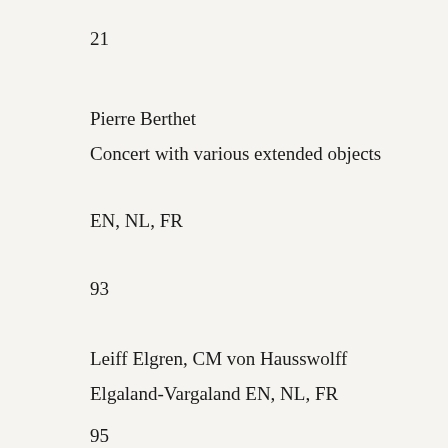21
Pierre Berthet
Concert with various extended objects
EN, NL, FR
93
Leiff Elgren, CM von Hausswolff
Elgaland-Vargaland EN, NL, FR
95